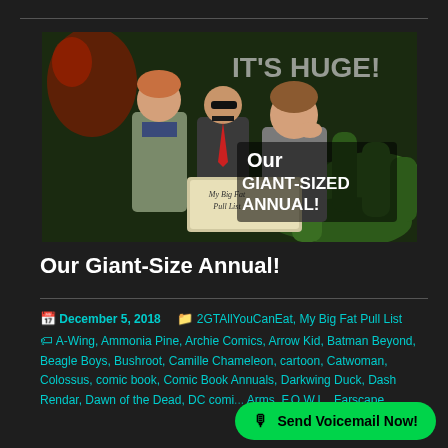[Figure (illustration): Comic-style illustration of three men looking surprised at a box labeled 'My Big Fat Pull List', with text 'IT'S HUGE! Our GIANT-SIZED ANNUAL!' on a green monster-hand background]
Our Giant-Size Annual!
December 5, 2018   2GTAllYouCanEat, My Big Fat Pull List   A-Wing, Ammonia Pine, Archie Comics, Arrow Kid, Batman Beyond, Beagle Boys, Bushroot, Camille Chameleon, cartoon, Catwoman, Colossus, comic book, Comic Book Annuals, Darkwing Duck, Dash Rendar, Dawn of the Dead, DC comi... Arms, F.O.W.L., Farscape,